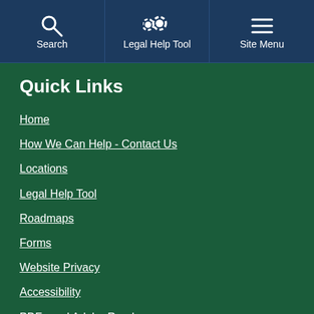Search | Legal Help Tool | Site Menu
Quick Links
Home
How We Can Help - Contact Us
Locations
Legal Help Tool
Roadmaps
Forms
Website Privacy
Accessibility
PDFs and Adobe Reader
Language Help